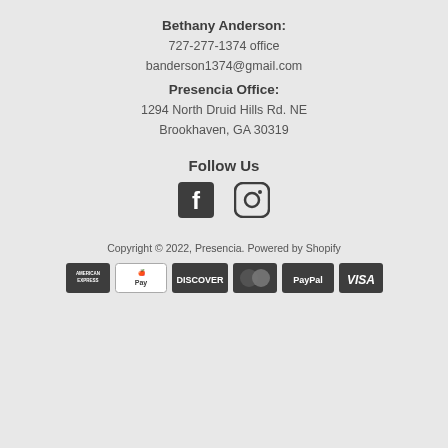Bethany Anderson:
727-277-1374 office
banderson1374@gmail.com
Presencia Office:
1294 North Druid Hills Rd. NE
Brookhaven, GA 30319
Follow Us
[Figure (illustration): Facebook and Instagram social media icons]
Copyright © 2022, Presencia. Powered by Shopify
[Figure (illustration): Payment method icons: American Express, Apple Pay, Discover, Mastercard, PayPal, Visa]